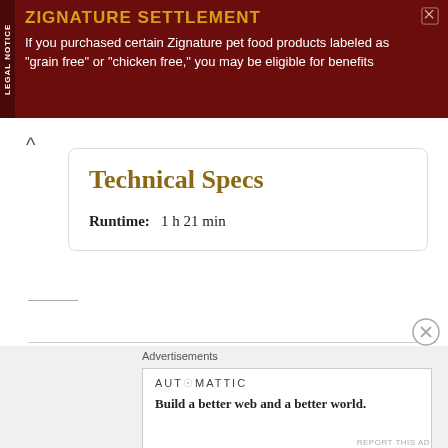[Figure (other): Legal notice advertisement banner for Zignature pet food settlement with dark red background. Title: ZIGNATURE SETTLEMENT. Body: If you purchased certain Zignature pet food products labeled as "grain free" or "chicken free," you may be eligible for benefits]
Technical Specs
Runtime:   1 h 21 min
Operation Dumbo Drop
[Figure (other): Advertisement box from Automattic. Text: Build a better web and a better world.]